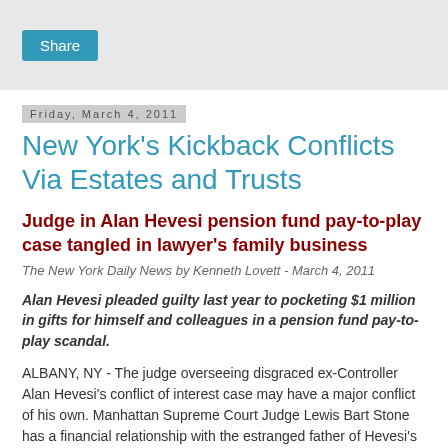[Figure (other): Share button UI element in grey bar at top of page]
Friday, March 4, 2011
New York's Kickback Conflicts Via Estates and Trusts
Judge in Alan Hevesi pension fund pay-to-play case tangled in lawyer's family business
The New York Daily News by Kenneth Lovett - March 4, 2011
Alan Hevesi pleaded guilty last year to pocketing $1 million in gifts for himself and colleagues in a pension fund pay-to-play scandal.
ALBANY, NY - The judge overseeing disgraced ex-Controller Alan Hevesi's conflict of interest case may have a major conflict of his own. Manhattan Supreme Court Judge Lewis Bart Stone has a financial relationship with the estranged father of Hevesi's lawyer, it was revealed in court this week. While the potential conflict isn't expected to impact Hevesi's